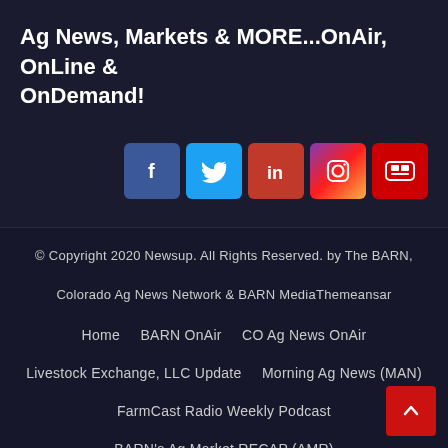Ag News, Markets & MORE...OnAir, OnLine & OnDemand!
[Figure (infographic): Row of 5 social media icons: Facebook (blue), Twitter (light blue), LinkedIn (red), Instagram (gradient purple/orange), YouTube (red)]
© Copyright 2020 Newsup. All Rights Reserved. by The BARN, Colorado Ag News Network & BARN MediaThemeansar
Home
BARN OnAir
CO Ag News OnAir
Livestock Exchange, LLC Update
Morning Ag News (MAN)
FarmCast Radio Weekly Podcast
BARN's Ag Market RECAP (AMR)